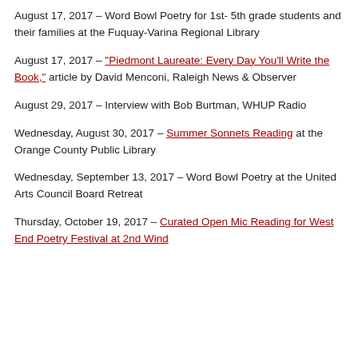August 17, 2017 – Word Bowl Poetry for 1st- 5th grade students and their families at the Fuquay-Varina Regional Library
August 17, 2017 – "Piedmont Laureate: Every Day You'll Write the Book," article by David Menconi, Raleigh News & Observer
August 29, 2017 – Interview with Bob Burtman, WHUP Radio
Wednesday, August 30, 2017 – Summer Sonnets Reading at the Orange County Public Library
Wednesday, September 13, 2017 – Word Bowl Poetry at the United Arts Council Board Retreat
Thursday, October 19, 2017 – Curated Open Mic Reading for West End Poetry Festival at 2nd Wind